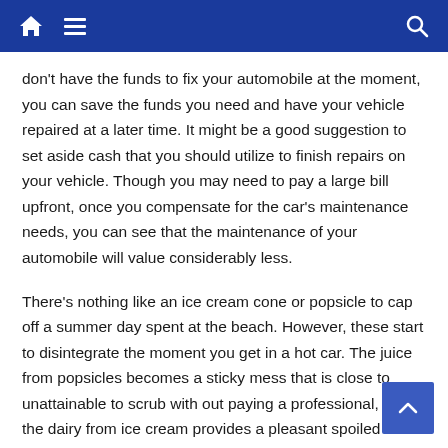Navigation bar with home, menu, and search icons
don't have the funds to fix your automobile at the moment, you can save the funds you need and have your vehicle repaired at a later time. It might be a good suggestion to set aside cash that you should utilize to finish repairs on your vehicle. Though you may need to pay a large bill upfront, once you compensate for the car's maintenance needs, you can see that the maintenance of your automobile will value considerably less.
There's nothing like an ice cream cone or popsicle to cap off a summer day spent at the beach. However, these start to disintegrate the moment you get in a hot car. The juice from popsicles becomes a sticky mess that is close to unattainable to scrub with out paying a professional, and the dairy from ice cream provides a pleasant spoiled milk smell after a few days.